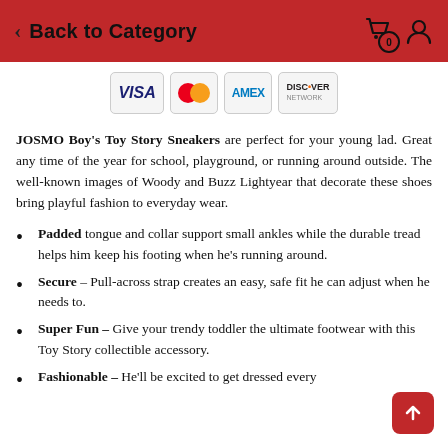Back to Category
[Figure (logo): Payment card logos: VISA, MasterCard, AMEX, DISCOVER]
JOSMO Boy's Toy Story Sneakers are perfect for your young lad. Great any time of the year for school, playground, or running around outside. The well-known images of Woody and Buzz Lightyear that decorate these shoes bring playful fashion to everyday wear.
Padded tongue and collar support small ankles while the durable tread helps him keep his footing when he's running around.
Secure – Pull-across strap creates an easy, safe fit he can adjust when he needs to.
Super Fun – Give your trendy toddler the ultimate footwear with this Toy Story collectible accessory.
Fashionable – He'll be excited to get dressed every